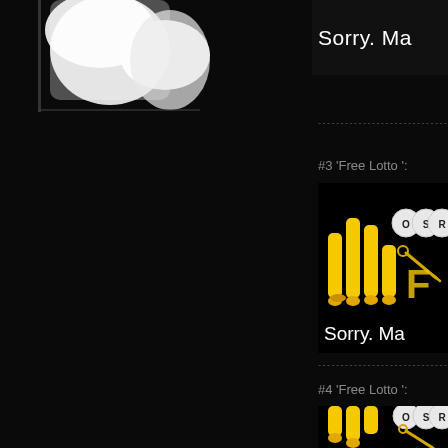[Figure (screenshot): Top-left partial image showing white rounded 3D objects on dark background, cropped]
[Figure (screenshot): Top-right card showing 'Sorry. Ma...' text on dark background]
--------------------------------------
#3 'Free Lotto ':
[Figure (screenshot): Game thumbnail for #3 Free Lotto showing yellow 3D bar/coin objects and OSR logo on black background with 'Sorry. Ma...' text]
--------------------------------------
#4 'Free Lotto ':
[Figure (screenshot): Game thumbnail for #4 Free Lotto showing yellow 3D bar/coin objects and OSR logo on black background with 'Sorry. Ma...' text]